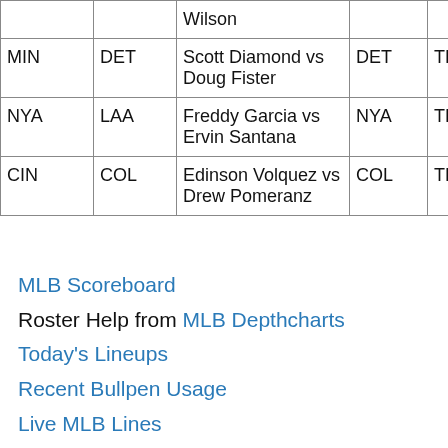|  |  | Wilson |  |  |  | T |
| MIN | DET | Scott Diamond vs Doug Fister | DET | TBD | 68.11% | T |
| NYA | LAA | Freddy Garcia vs Ervin Santana | NYA | TBD | 53.08% | T |
| CIN | COL | Edinson Volquez vs Drew Pomeranz | COL | TBD | 63.11% | T |
MLB Scoreboard
Roster Help from MLB Depthcharts
Today's Lineups
Recent Bullpen Usage
Live MLB Lines